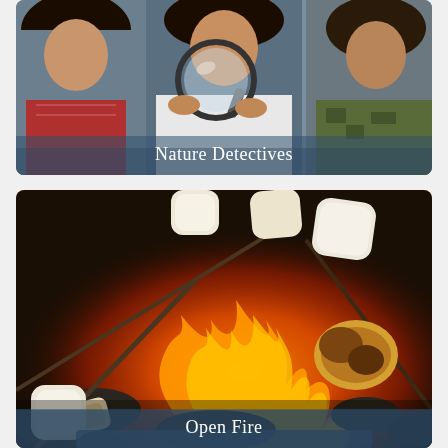[Figure (photo): Three children sitting together outdoors; the middle child holds a large magnifying glass. Text overlay reads 'Nature Detectives'.]
[Figure (photo): Marshmallows roasting on sticks over a campfire with flames visible. Text overlay reads 'Open Fire'.]